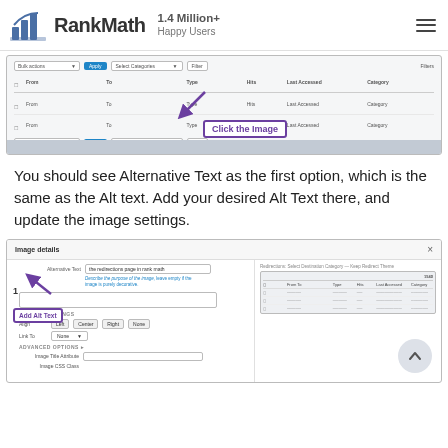RankMath — 1.4 Million+ Happy Users
[Figure (screenshot): Screenshot of a redirections table interface with bulk actions toolbar, From/To/Type/Hits/Last Accessed/Category columns, and an arrow pointing to a 'Click the Image' callout box]
You should see Alternative Text as the first option, which is the same as the Alt text. Add your desired Alt Text there, and update the image settings.
[Figure (screenshot): Screenshot of WordPress Image details dialog showing Alternative Text field with 'the redirections page in rank math' entered, an arrow pointing to an 'Add Alt Text' callout, display settings with Align/Link To options, Advanced Options section with Image Title Attribute field, and a preview of the redirections table on the right side]